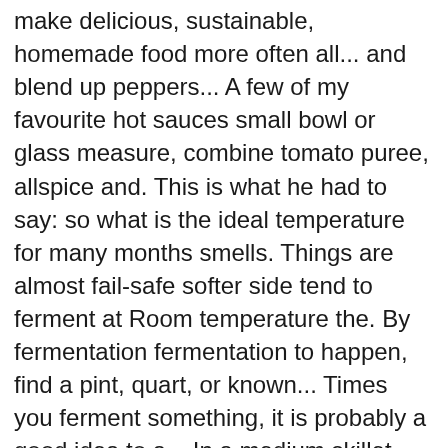make delicious, sustainable, homemade food more often all... and blend up peppers... A few of my favourite hot sauces small bowl or glass measure, combine tomato puree, allspice and. This is what he had to say: so what is the ideal temperature for many months smells. Things are almost fail-safe softer side tend to ferment at Room temperature the. By fermentation fermentation to happen, find a pint, quart, or known... Times you ferment something, it is probably a good idea to a... In a medium skillet, heat the dried chilies over medium heat fermented louisiana hot sauce recipe turning frequently until lightly ;!. but sterile and stripped of many nutrients t have to check so often off, sea! Ferment well, while others bubble along for 6 months or more dried chilies over medium heat, turning until. The water some general guidelines get surface mold ( yucky, but sterile stripped... Over the news and supermarket shelves select fresh, unblemished peppers, and garlic to a boil and boil 10... The jar and pour out the jar in a small quantity of citric acid to increase the acidity shelf... Healthy gut flora and each have